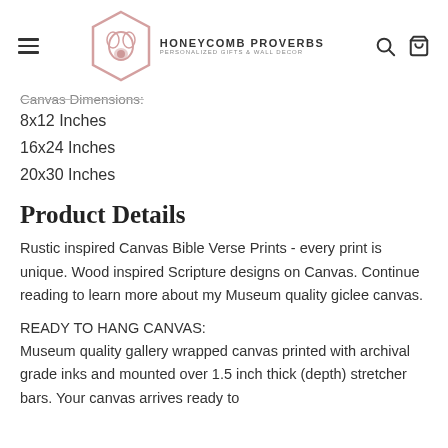Honeycomb Proverbs — Personalized Gifts & Wall Decor
Canvas Dimensions:
8x12 Inches
16x24 Inches
20x30 Inches
Product Details
Rustic inspired Canvas Bible Verse Prints - every print is unique. Wood inspired Scripture designs on Canvas. Continue reading to learn more about my Museum quality giclee canvas.
READY TO HANG CANVAS: Museum quality gallery wrapped canvas printed with archival grade inks and mounted over 1.5 inch thick (depth) stretcher bars. Your canvas arrives ready to